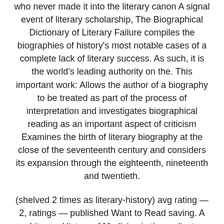who never made it into the literary canon A signal event of literary scholarship, The Biographical Dictionary of Literary Failure compiles the biographies of history's most notable cases of a complete lack of literary success. As such, it is the world's leading authority on the. This important work: Allows the author of a biography to be treated as part of the process of interpretation and investigates biographical reading as an important aspect of criticism Examines the birth of literary biography at the close of the seventeenth century and considers its expansion through the eighteenth, nineteenth and twentieth.
(shelved 2 times as literary-history) avg rating — 2, ratings — published Want to Read saving. A Literary History of Medicine is the earliest comprehensive history of medicine. It contains biographies of over physicians, ranging from the ancient Greeks to the